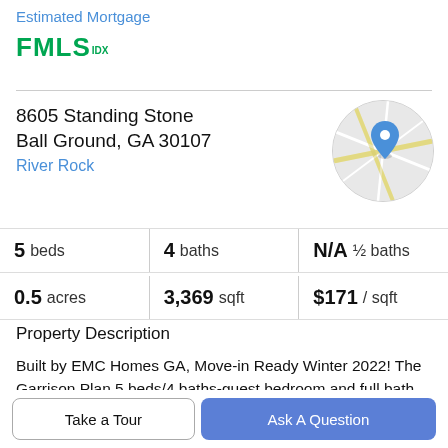Estimated Mortgage
[Figure (logo): FMLS IDX logo in green]
8605 Standing Stone
Ball Ground, GA 30107
River Rock
[Figure (map): Circular map thumbnail showing location with a blue map pin marker]
5 beds | 4 baths | N/A ½ baths
0.5 acres | 3,369 sqft | $171 / sqft
Property Description
Built by EMC Homes GA, Move-in Ready Winter 2022! The Garrison Plan 5 beds/4 baths-guest bedroom and full bath on main. Covered Front Porch, Foyer entrance,
Take a Tour
Ask A Question